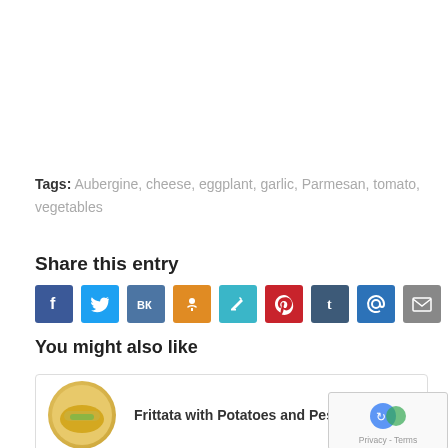Tags: Aubergine, cheese, eggplant, garlic, Parmesan, tomato, vegetables
Share this entry
[Figure (other): Row of social media share icon buttons: Facebook, Twitter, VK, Odnoklassniki, Xing, Pinterest, Tumblr, mail/@, envelope]
You might also like
[Figure (photo): Thumbnail image of frittata with potatoes and pesto sauce — round golden food item on yellow background]
Frittata with Potatoes and Pesto Sauce